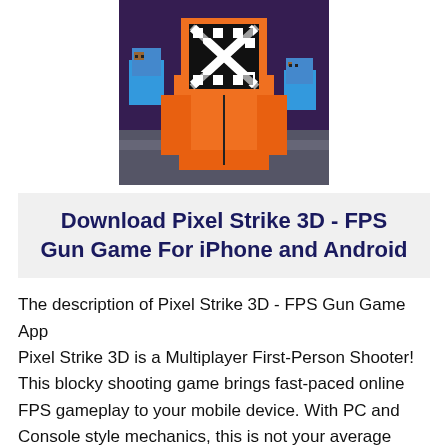[Figure (screenshot): Game screenshot showing blocky 3D pixel-art characters in orange suit with an X crosshair symbol on face, set in a dark purple industrial environment. Two blue-suited characters visible in the background.]
Download Pixel Strike 3D - FPS Gun Game For iPhone and Android
The description of Pixel Strike 3D - FPS Gun Game App
Pixel Strike 3D is a Multiplayer First-Person Shooter! This blocky shooting game brings fast-paced online FPS gameplay to your mobile device. With PC and Console style mechanics, this is not your average mobile gun